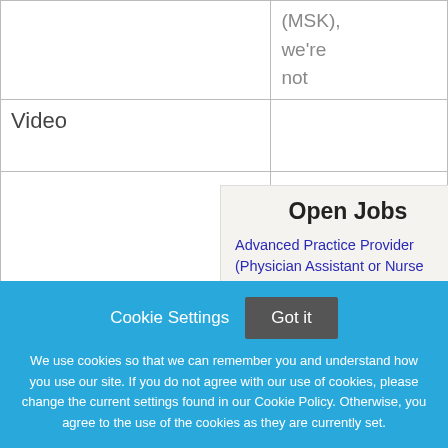| Video | (MSK), we're not |
|  | only changing the way we treat cancer |
Open Jobs
Advanced Practice Provider (Physician Assistant or Nurse Practitioner) Outpatient Urology Surgery: Men's Sexual Health
New York, New York
Cookie Settings
Got it
We use cookies so that we can remember you and understand how you use our site. If you do not agree with our use of cookies, please change the current settings found in our Cookie Policy. Otherwise, you agree to the use of the cookies as they are currently set.